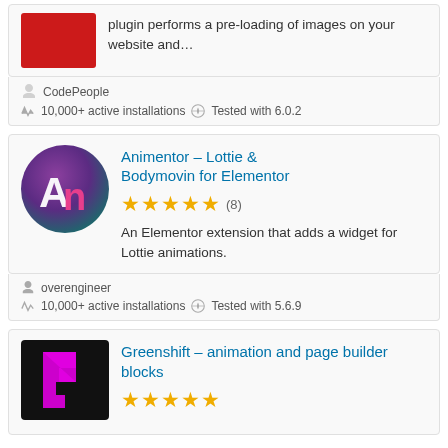plugin performs a pre-loading of images on your website and…
CodePeople
10,000+ active installations   Tested with 6.0.2
Animentor – Lottie & Bodymovin for Elementor
[Figure (illustration): Animentor plugin icon — circular gradient background (purple to teal) with stylized 'An' letters in white and pink]
(8) — 5 star rating
An Elementor extension that adds a widget for Lottie animations.
overengineer
10,000+ active installations   Tested with 5.6.9
Greenshift – animation and page builder blocks
[Figure (logo): Greenshift plugin icon — black background with a magenta/pink stylized 'G' bracket shape]